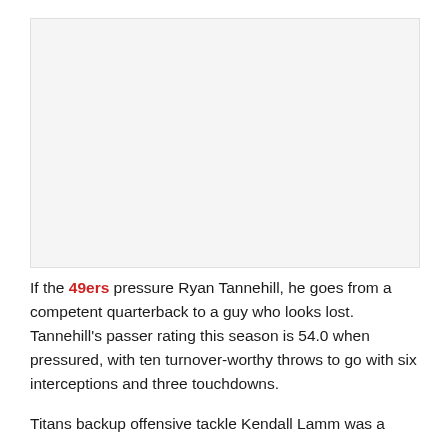[Figure (photo): Blank/placeholder image area at the top of the page]
If the 49ers pressure Ryan Tannehill, he goes from a competent quarterback to a guy who looks lost. Tannehill's passer rating this season is 54.0 when pressured, with ten turnover-worthy throws to go with six interceptions and three touchdowns.
Titans backup offensive tackle Kendall Lamm was a